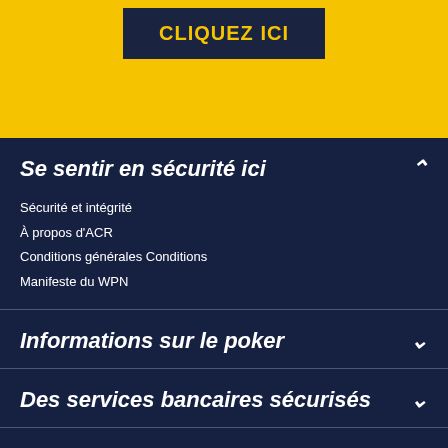[Figure (other): Yellow banner with a dark button labeled CLIQUEZ ICI]
Se sentir en sécurité ici
Sécurité et intégrité
À propos d'ACR
Conditions générales Conditions
Manifeste du WPN
Informations sur le poker
Des services bancaires sécurisés